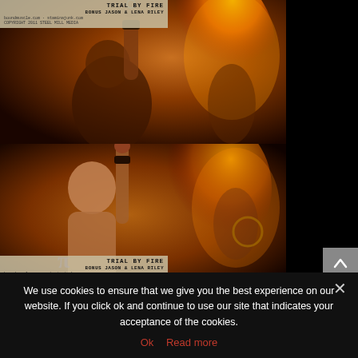[Figure (photo): Performance photo - Trial by Fire, featuring a bald tattooed performer holding fire, with watermark overlays reading 'TRIAL BY FIRE / BANUS JASON & LENA RILEY' and copyright/URL info. Three sequential photos stacked vertically.]
We use cookies to ensure that we give you the best experience on our website. If you click ok and continue to use our site that indicates your acceptance of the cookies.
Ok   Read more